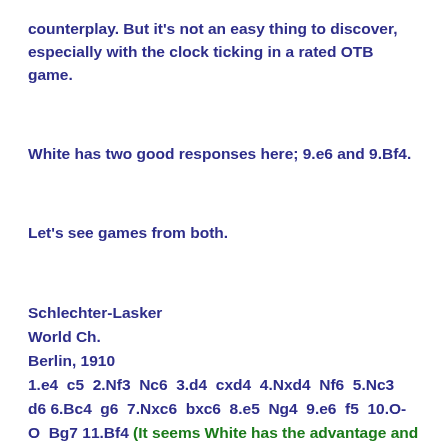counterplay. But it's not an easy thing to discover, especially with the clock ticking in a rated OTB game.
White has two good responses here; 9.e6 and 9.Bf4.
Let's see games from both.
Schlechter-Lasker
World Ch.
Berlin, 1910
1.e4 c5 2.Nf3 Nc6 3.d4 cxd4 4.Nxd4 Nf6 5.Nc3 d6 6.Bc4 g6 7.Nxc6 bxc6 8.e5 Ng4 9.e6 f5 10.O-O Bg7 11.Bf4 (It seems White has the advantage and should win. But Lasker was at his best when facing an uphill